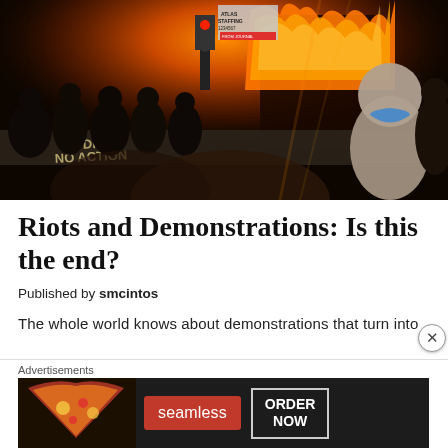[Figure (photo): Night scene of a large fire at a building with crowds of protesters in the foreground. Graffiti on a concrete barrier reads 'NO DRGS NO ACTION'. A person wearing a blue face mask is visible in the right foreground. The background shows intense orange flames.]
Riots and Demonstrations: Is this the end?
Published by smcintos
The whole world knows about demonstrations that turn into
Advertisements
[Figure (screenshot): Seamless food delivery advertisement banner showing pizza on the left, a red Seamless logo in the center, and an 'ORDER NOW' button on the right, all on a dark background.]